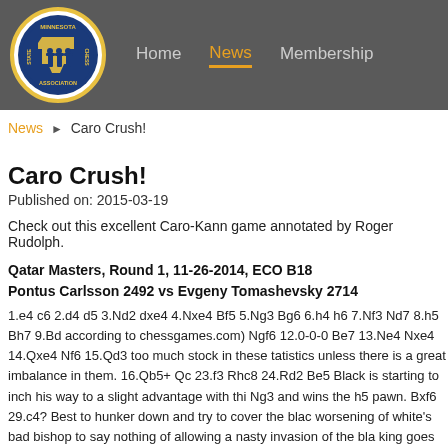Home | News | Membership — Minnesota State Chess Association
News ▶ Caro Crush!
Caro Crush!
Published on: 2015-03-19
Check out this excellent Caro-Kann game annotated by Roger Rudolph.
Qatar Masters, Round 1, 11-26-2014, ECO B18
Pontus Carlsson 2492 vs Evgeny Tomashevsky 2714
1.e4 c6 2.d4 d5 3.Nd2 dxe4 4.Nxe4 Bf5 5.Ng3 Bg6 6.h4 h6 7.Nf3 Nd7 8.h5 Bh7 9.Bd... (according to chessgames.com) Ngf6 12.0-0-0 Be7 13.Ne4 Nxe4 14.Qxe4 Nf6 15.Qd3... too much stock in these tatistics unless there is a great imbalance in them. 16.Qb5+ Qc... 23.f3 Rhc8 24.Rd2 Be5 Black is starting to inch his way to a slight advantage with thi... Ng3 and wins the h5 pawn. Bxf6 29.c4? Best to hunker down and try to cover the blac... worsening of white's bad bishop to say nothing of allowing a nasty invasion of the bla... king goes for a walk in White Square Park! 36.Rg6+ Kf5 37.Kb1 Bf6 38.Rgg1 Ke4 39... matters completely. Rxc5!! 40.Bxc5 Rxc5 41.Rh3 With the f4 and h5 pawns both hang...